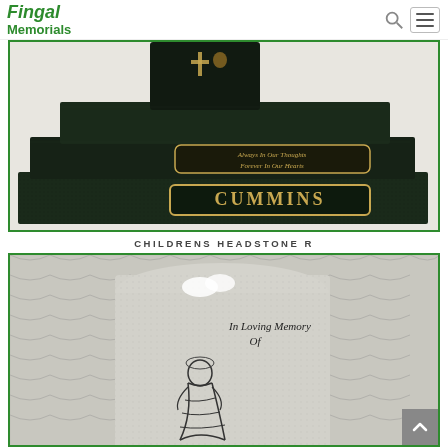Fingal Memorials
[Figure (photo): Dark green/black granite memorial with tiered base. Gold lettering reads 'Always In Our Thoughts Forever In Our Hearts' and 'CUMMINS'. Small cross and religious figure on headstone.]
CHILDRENS HEADSTONE R
[Figure (photo): Grey granite children's headstone with Celtic knotwork background pattern. Engraved text reads 'In Loving Memory Of'. Features an engraved religious figure (Virgin Mary) on the stone. White ribbon/bow decoration at top.]